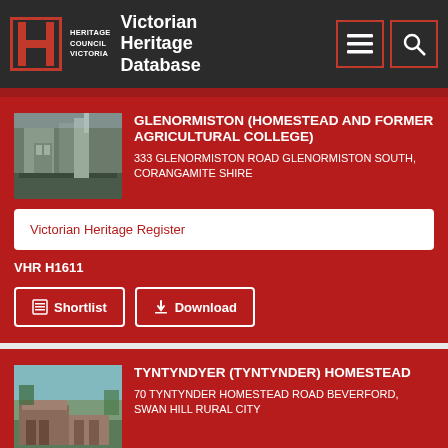Heritage Council Victoria — Victorian Heritage Database
GLENORMISTON (HOMESTEAD AND FORMER AGRICULTURAL COLLEGE)
333 GLENORMISTON ROAD GLENORMISTON SOUTH, CORANGAMITE SHIRE
Victorian Heritage Register
VHR H1611
Shortlist   Download
TYNTYNDYER (TYNTYNDER) HOMESTEAD
70 TYNTYNDER HOMESTEAD ROAD BEVERFORD, SWAN HILL RURAL CITY
Victorian Heritage Register